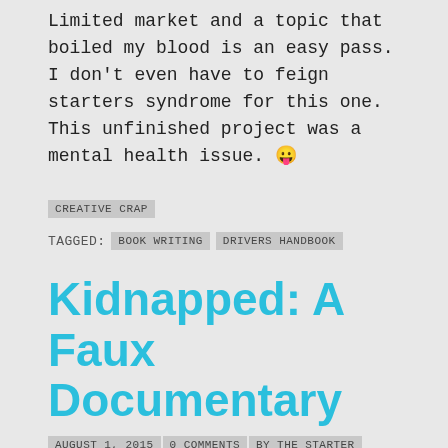Limited market and a topic that boiled my blood is an easy pass. I don't even have to feign starters syndrome for this one. This unfinished project was a mental health issue. 😛
CREATIVE CRAP
TAGGED: BOOK WRITING DRIVERS HANDBOOK
Kidnapped: A Faux Documentary
AUGUST 1, 2015 0 COMMENTS BY THE STARTER
When I moved to a different area a few years ago, I started jogging this 2 mile loop around my neighborhood. I usually get lost in thought when I run and it's often when